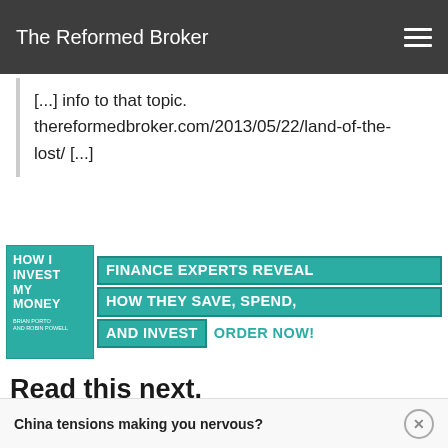The Reformed Broker
[...] info to that topic. thereformedbroker.com/2013/05/22/land-of-the-lost/ [...]
[Figure (infographic): Book advertisement banner for 'How I Invest My Money' — Finance Experts Reveal How They Save, Spend, and Invest. ORDER NOW!]
Read this next.
July 26, 2018
The re...
China tensions making you nervous?